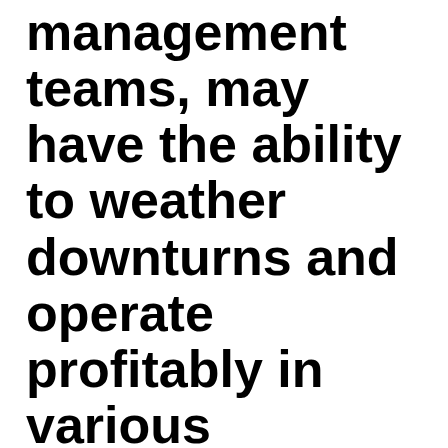management teams, may have the ability to weather downturns and operate profitably in various economic conditions. Guggenheim offers three blue chip portfolios. Learn more
Guggenheim Securities offers services that fall into four broad categories: Advisory After a fraught span